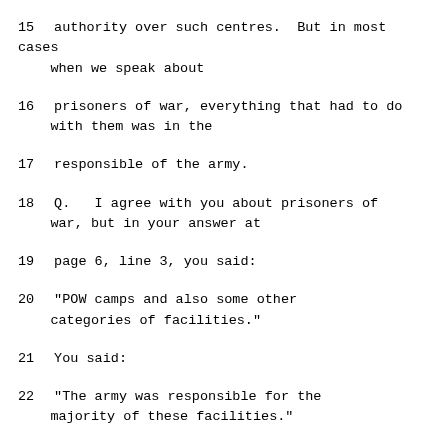15    authority over such centres.  But in most cases when we speak about
16    prisoners of war, everything that had to do with them was in the
17    responsible of the army.
18        Q.   I agree with you about prisoners of war, but in your answer at
19    page 6, line 3, you said:
20            "POW camps and also some other categories of facilities."
21            You said:
22            "The army was responsible for the majority of these facilities."